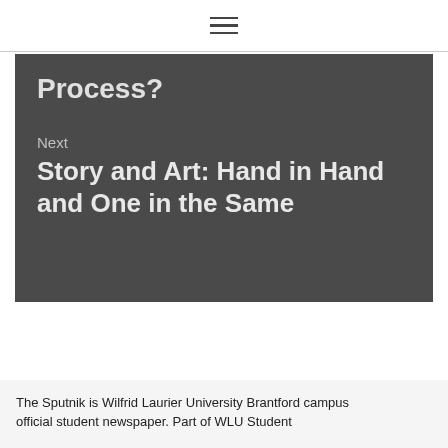Process?
Next
Story and Art: Hand in Hand and One in the Same
The Sputnik is Wilfrid Laurier University Brantford campus official student newspaper. Part of WLU Student